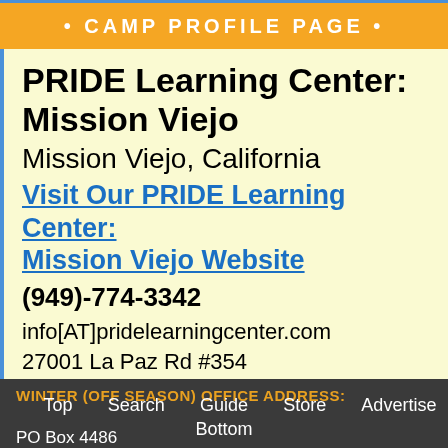• CAMP PROFILE PAGE •
PRIDE Learning Center: Mission Viejo
Mission Viejo, California
Visit Our PRIDE Learning Center: Mission Viejo Website
(949)-774-3342
info[AT]pridelearningcenter.com
27001 La Paz Rd #354
Mission Viejo, California 92692
WINTER (OFF SEASON) OFFICE ADDRESS: Top Search Guide Store Advertise PO Box 4486 Bottom Mission Viejo, CA 92690